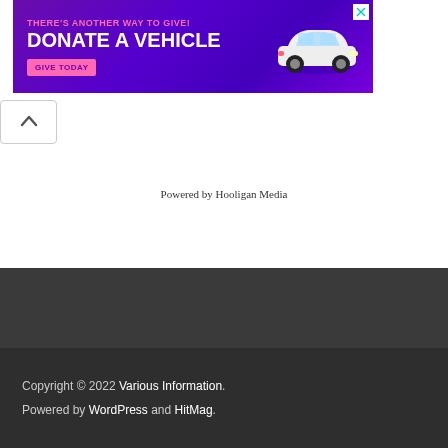[Figure (other): Advertisement banner: purple background with text 'THERE'S ANOTHER WAY TO GIVE! DONATE A VEHICLE' with a pink 'GIVE TODAY' button and a white car illustration. Has a close X button in top right.]
Powered by Hooligan Media
Copyright © 2022 Various Information.
Powered by WordPress and HitMag.